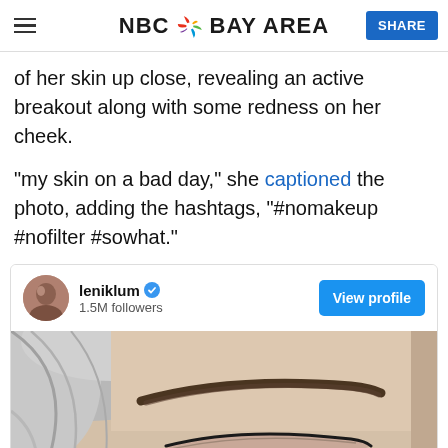NBC Bay Area — SHARE
of her skin up close, revealing an active breakout along with some redness on her cheek.
“my skin on a bad day,” she captioned the photo, adding the hashtags, “#nomakeup #nofilter #sowhat.”
[Figure (screenshot): Instagram embed card showing user leniklum with 1.5M followers, View profile button, and a close-up photo of a woman's face with closed eye and visible eyebrow]